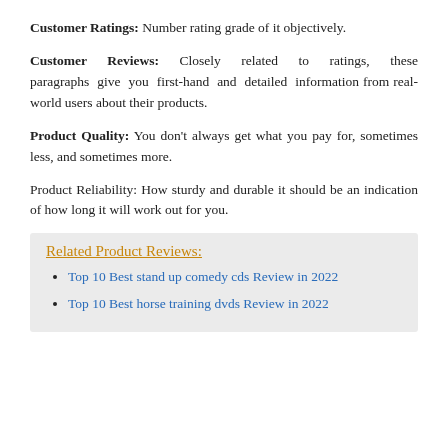Customer Ratings: Number rating grade of it objectively.
Customer Reviews: Closely related to ratings, these paragraphs give you first-hand and detailed information from real-world users about their products.
Product Quality: You don't always get what you pay for, sometimes less, and sometimes more.
Product Reliability: How sturdy and durable it should be an indication of how long it will work out for you.
Related Product Reviews:
Top 10 Best stand up comedy cds Review in 2022
Top 10 Best horse training dvds Review in 2022